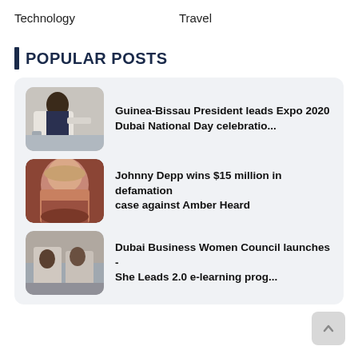Technology    Travel
POPULAR POSTS
Guinea-Bissau President leads Expo 2020 Dubai National Day celebratio...
Johnny Depp wins $15 million in defamation case against Amber Heard
Dubai Business Women Council launches - She Leads 2.0 e-learning prog...